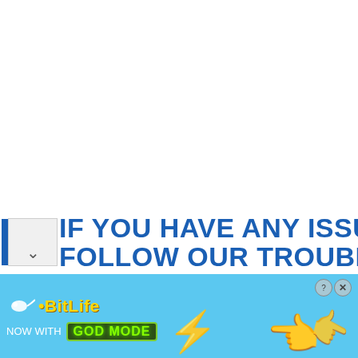IF YOU HAVE ANY ISSUES, PLEASE FOLLOW OUR TROUBLESHOOTING
[Figure (screenshot): BitLife mobile game advertisement banner with blue background, sperm icon, BitLife logo in yellow, 'NOW WITH GOD MODE' button in green, lightning bolt, and pointing hand graphics, with close (?) and (x) buttons.]